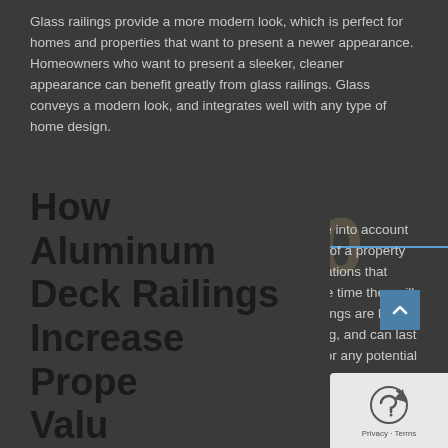Glass railings provide a more modern look, which is perfect for homes and properties that want to present a newer appearance. Homeowners who want to present a sleeker, cleaner appearance can benefit greatly from glass railings. Glass conveys a modern look, and integrates well with any type of home design.
When buyers are contemplating a home, they take into account a variety of considerations. While the appearance of a property is important, there are also other deeper considerations that buyers are going to think about. One of them is the time they will have to spend maintaining the property. Glass railings are low maintenance, only requiring an occasional cleaning, and can last for decades of use. They are a desirable feature for any potential homebuyer.
How Aluminum Deck Railings Increase Prope Value